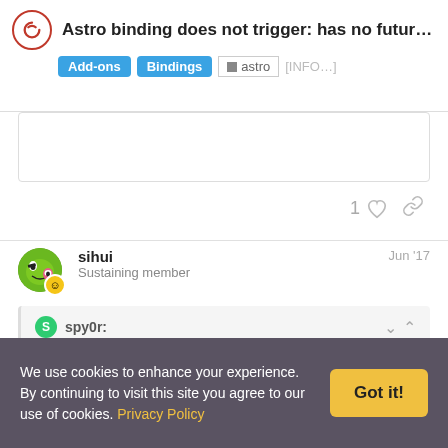Astro binding does not trigger: has no future ex... | Add-ons | Bindings | astro | [INFO...]
1 (like) (link)
sihui   Jun '17
Sustaining member
spy0r:
i hope everything is in the right place
Almost: because the astro binding is part of Eclipse it should have gone to:
We use cookies to enhance your experience. By continuing to visit this site you agree to our use of cookies. Privacy Policy   Got it!